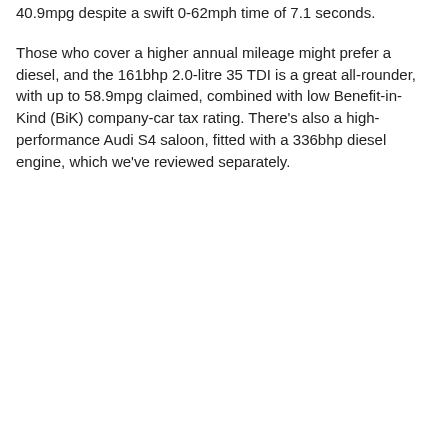40.9mpg despite a swift 0-62mph time of 7.1 seconds.
Those who cover a higher annual mileage might prefer a diesel, and the 161bhp 2.0-litre 35 TDI is a great all-rounder, with up to 58.9mpg claimed, combined with low Benefit-in-Kind (BiK) company-car tax rating. There's also a high-performance Audi S4 saloon, fitted with a 336bhp diesel engine, which we've reviewed separately.